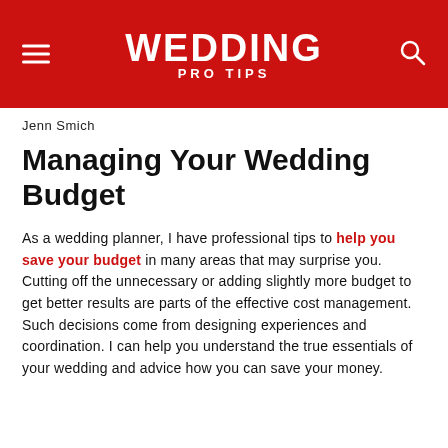WEDDING PRO TIPS
Jenn Smich
Managing Your Wedding Budget
As a wedding planner, I have professional tips to help you save your budget in many areas that may surprise you. Cutting off the unnecessary or adding slightly more budget to get better results are parts of the effective cost management. Such decisions come from designing experiences and coordination. I can help you understand the true essentials of your wedding and advice how you can save your money.